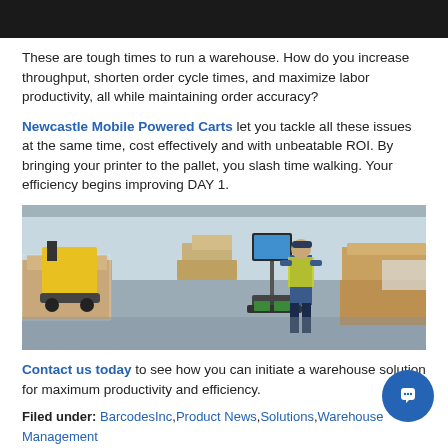[Figure (photo): Dark/black header image bar at top of page]
These are tough times to run a warehouse. How do you increase throughput, shorten order cycle times, and maximize labor productivity, all while maintaining order accuracy?
Newcastle Mobile Powered Carts let you tackle all these issues at the same time, cost effectively and with unbeatable ROI. By bringing your printer to the pallet, you slash time walking. Your efficiency begins improving DAY 1.
[Figure (photo): Warehouse interior showing a worker in yellow safety vest using a mobile powered cart with a monitor, surrounded by pallets and boxes. A yellow forklift is visible in the background.]
Contact us today to see how you can initiate a warehouse solution for maximum productivity and efficiency.
Filed under: BarcodesInc, Product News, Solutions, Warehouse Management
Tags: boost productivity, efficiency, increase efficiency, increase